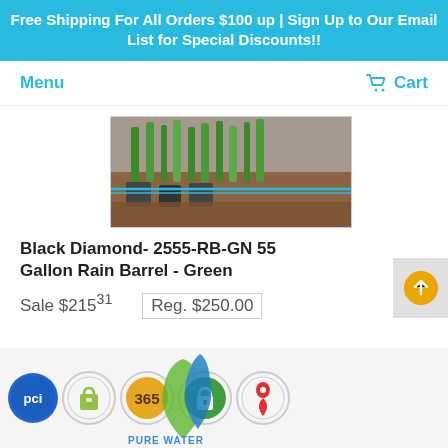Free Shipping For All Orders $100 up | Sign Up to Our Email List for Special Discounts!!
Menu
Cart
[Figure (photo): Photo of green plants/grass seedlings in garden soil with irrigation equipment]
Black Diamond- 2555-RB-GN 55 Gallon Rain Barrel - Green
Sale $215.31   Reg. $250.00
[Figure (logo): Pure Water logo - blue flame and green leaf drop design with text]
[Figure (infographic): Footer trust badge icons: PCI, Shopify, 365, lock/security, map pin]